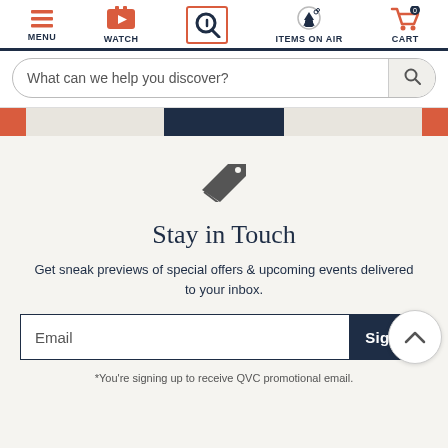MENU | WATCH | SEARCH | ITEMS ON AIR | CART
What can we help you discover?
[Figure (infographic): Price tag icon in dark gray]
Stay in Touch
Get sneak previews of special offers & upcoming events delivered to your inbox.
Email  Sign
*You're signing up to receive QVC promotional email.